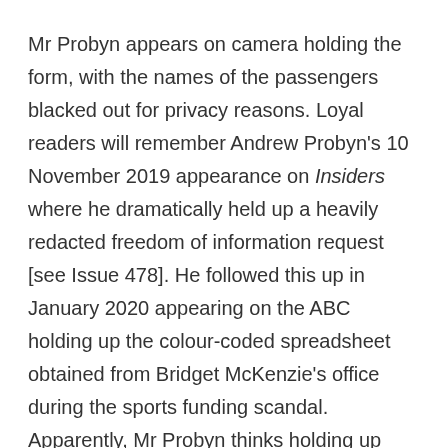Mr Probyn appears on camera holding the form, with the names of the passengers blacked out for privacy reasons. Loyal readers will remember Andrew Probyn's 10 November 2019 appearance on Insiders where he dramatically held up a heavily redacted freedom of information request [see Issue 478]. He followed this up in January 2020 appearing on the ABC holding up the colour-coded spreadsheet obtained from Bridget McKenzie's office during the sports funding scandal. Apparently, Mr Probyn thinks holding up very secret, very important documents is a good look for him.